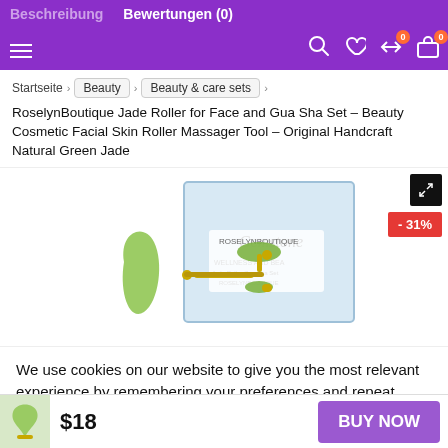Beschreibung   Bewertungen (0)
Startseite > Beauty > Beauty & care sets >
RoselynBoutique Jade Roller for Face and Gua Sha Set – Beauty Cosmetic Facial Skin Roller Massager Tool – Original Handcraft Natural Green Jade
[Figure (photo): Product photo of a jade roller and gua sha set with packaging box labeled RoselynBoutique Gemstone. A -31% discount badge is shown.]
We use cookies on our website to give you the most relevant experience by remembering your preferences and repeat visits. By clicking "Accept", you consent to the use of ALL the cookies.
Cookie settings   ACCEPT
$18   BUY NOW